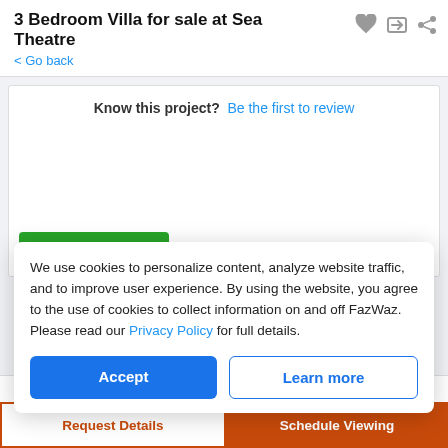3 Bedroom Villa for sale at Sea Theatre
< Go back
Know this project? Be the first to review
+ Write a review
We use cookies to personalize content, analyze website traffic, and to improve user experience. By using the website, you agree to the use of cookies to collect information on and off FazWaz. Please read our Privacy Policy for full details.
Accept
Learn more
Request Details
Schedule Viewing